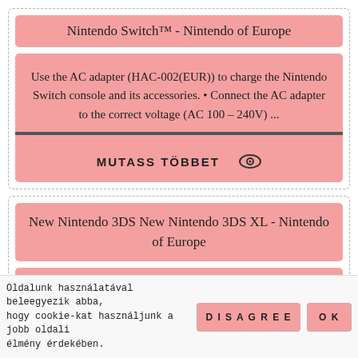Nintendo Switch™ - Nintendo of Europe
Use the AC adapter (HAC-002(EUR)) to charge the Nintendo Switch console and its accessories. • Connect the AC adapter to the correct voltage (AC 100 – 240V) ...
MUTASS TÖBBET
New Nintendo 3DS New Nintendo 3DS XL - Nintendo of Europe
Oldalunk használatával beleegyezik abba, hogy cookie-kat használjunk a jobb oldali élmény érdekében.